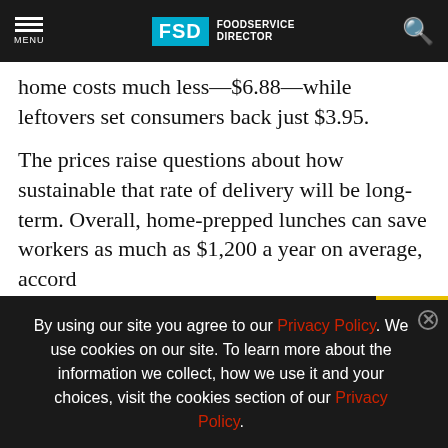MENU | FSD FOODSERVICE DIRECTOR
home costs much less—$6.88—while leftovers set consumers back just $3.95.
The prices raise questions about how sustainable that rate of delivery will be long-term. Overall, home-prepped lunches can save workers as much as $1,200 a year on average, accord
[Figure (other): Advertisement banner for Menu Directions event, OCT. 17-19, 2022, University of Notre Dame]
Meanwhile a portion of remote workers aren't
By using our site you agree to our Privacy Policy. We use cookies on our site. To learn more about the information we collect, how we use it and your choices, visit the cookies section of our Privacy Policy.